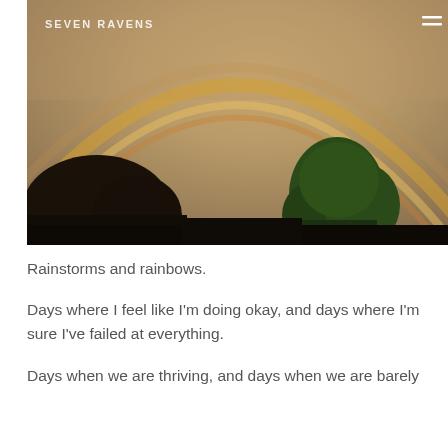[Figure (photo): Photograph of a double rainbow arching over a twilight sky with silhouetted trees — dark tree mass on the left and a green-leafed tree on the right. The sky has a warm golden-grey hue. A website header with text 'SEVEN RAVENS' and a hamburger menu icon is overlaid on the top of the image.]
Rainstorms and rainbows.
Days where I feel like I'm doing okay, and days where I'm sure I've failed at everything.
Days when we are thriving, and days when we are barely